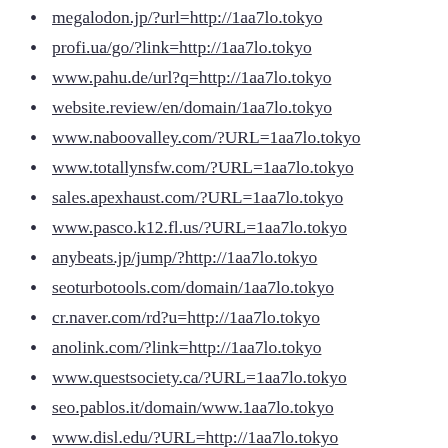megalodon.jp/?url=http://1aa7lo.tokyo
profi.ua/go/?link=http://1aa7lo.tokyo
www.pahu.de/url?q=http://1aa7lo.tokyo
website.review/en/domain/1aa7lo.tokyo
www.naboovalley.com/?URL=1aa7lo.tokyo
www.totallynsfw.com/?URL=1aa7lo.tokyo
sales.apexhaust.com/?URL=1aa7lo.tokyo
www.pasco.k12.fl.us/?URL=1aa7lo.tokyo
anybeats.jp/jump/?http://1aa7lo.tokyo
seoturbotools.com/domain/1aa7lo.tokyo
cr.naver.com/rd?u=http://1aa7lo.tokyo
anolink.com/?link=http://1aa7lo.tokyo
www.questsociety.ca/?URL=1aa7lo.tokyo
seo.pablos.it/domain/www.1aa7lo.tokyo
www.disl.edu/?URL=http://1aa7lo.tokyo
111.1gb.ru/go.php?http://1aa7lo.tokyo
holidaykitchens.com/?URL=1aa7lo.tokyo
url-sub.ru/site/analysis/1aa7lo.tokyo
tv29.ru/redirect.php?url=1aa7lo.tokyo